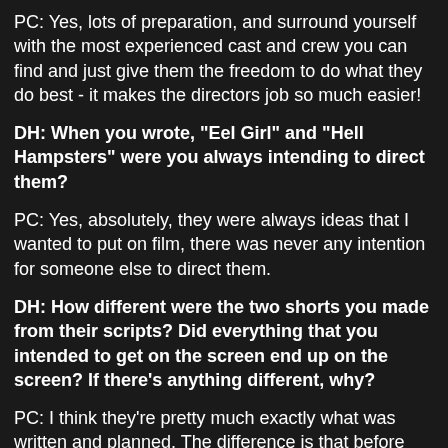PC: Yes, lots of preparation, and surround yourself with the most experienced cast and crew you can find and just give them the freedom to do what they do best - it makes the directors job so much easier!
DH: When you wrote, "Eel Girl" and "Hell Hampsters" were you always intending to direct them?
PC: Yes, absolutely, they were always ideas that I wanted to put on film, there was never any intention for someone else to direct them.
DH: How different were the two shorts you made from their scripts? Did everything that you intended to get on the screen end up on the screen? If there's anything different, why?
PC: I think they're pretty much exactly what was written and planned. The difference is that before you start making the film you have a perfect vision of what you want the film to be, but because of the limits of budget and time you never really get exactly what you've got in your head, you have a